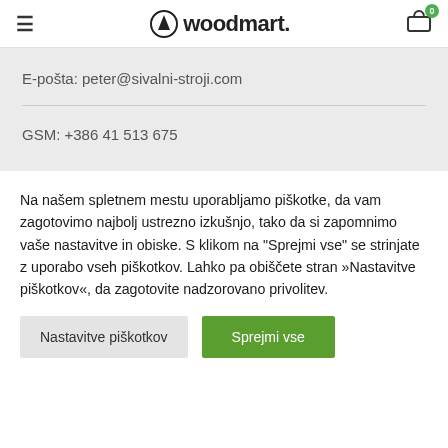woodmart.
E-pošta: peter@sivalni-stroji.com
GSM: +386 41 513 675
Na našem spletnem mestu uporabljamo piškotke, da vam zagotovimo najbolj ustrezno izkušnjo, tako da si zapomnimo vaše nastavitve in obiske. S klikom na "Sprejmi vse" se strinjate z uporabo vseh piškotkov. Lahko pa obiščete stran »Nastavitve piškotkov«, da zagotovite nadzorovano privolitev.
Nastavitve piškotkov
Sprejmi vse